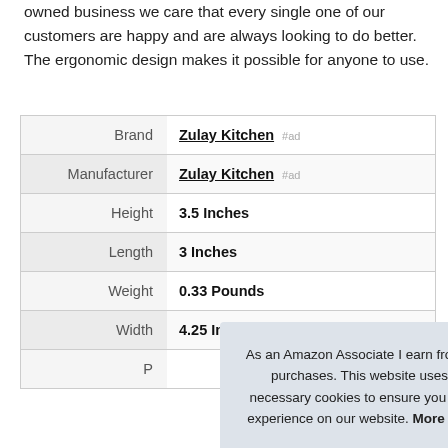owned business we care that every single one of our customers are happy and are always looking to do better. The ergonomic design makes it possible for anyone to use.
| Label | Value |
| --- | --- |
| Brand | Zulay Kitchen #ad |
| Manufacturer | Zulay Kitchen #ad |
| Height | 3.5 Inches |
| Length | 3 Inches |
| Weight | 0.33 Pounds |
| Width | 4.25 Inches |
| P |  |
As an Amazon Associate I earn from qualifying purchases. This website uses the only necessary cookies to ensure you get the best experience on our website. More information